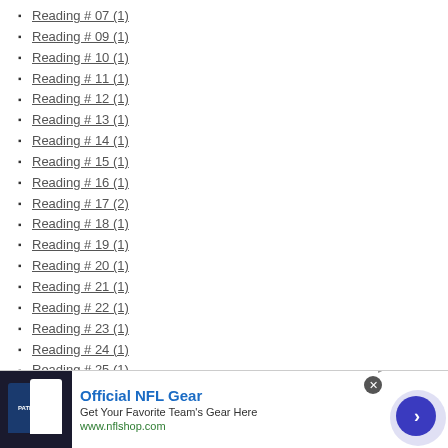Reading # 07 (1)
Reading # 09 (1)
Reading # 10 (1)
Reading # 11 (1)
Reading # 12 (1)
Reading # 13 (1)
Reading # 14 (1)
Reading # 15 (1)
Reading # 16 (1)
Reading # 17 (2)
Reading # 18 (1)
Reading # 19 (1)
Reading # 20 (1)
Reading # 21 (1)
Reading # 22 (1)
Reading # 23 (1)
Reading # 24 (1)
Reading # 25 (1)
Reading # 26 (1)
Reading # 27 (7)
Reading # 28 (8)
Reading # 29 (8)
Reading # 30 (9)
[Figure (screenshot): Advertisement banner for Official NFL Gear with jerseys image, blue title text, and a call-to-action arrow button]